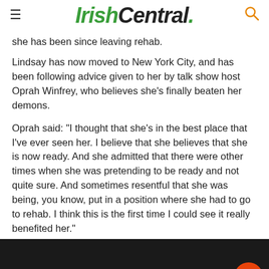IrishCentral.
she has been since leaving rehab.
Lindsay has now moved to New York City, and has been following advice given to her by talk show host Oprah Winfrey, who believes she’s finally beaten her demons.
Oprah said: "I thought that she’s in the best place that I’ve ever seen her. I believe that she believes that she is now ready. And she admitted that there were other times when she was pretending to be ready and not quite sure. And sometimes resentful that she was being, you know, put in a position where she had to go to rehab. I think this is the first time I could see it really benefited her."
What is your reaction?
[Figure (infographic): Vuukle reaction widget with emoji faces and social share icons showing 0% reactions, and a chat button]